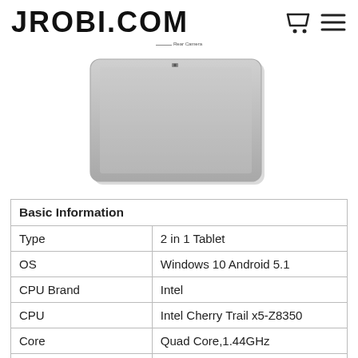JROBI.COM
[Figure (photo): Back view of a silver tablet showing the rear camera labeled 'Rear Camera']
| Basic Information |  |
| --- | --- |
| Type | 2 in 1 Tablet |
| OS | Windows 10 Android 5.1 |
| CPU Brand | Intel |
| CPU | Intel Cherry Trail x5-Z8350 |
| Core | Quad Core,1.44GHz |
| GPU | Gen8-LP/12EU |
| Storage |  |